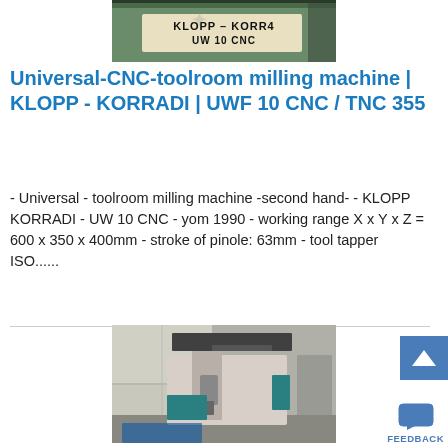[Figure (photo): Photo of a KLOPP-KORR4 UW 10 CNC milling machine label/nameplate, green machine body]
Universal-CNC-toolroom milling machine | KLOPP - KORRADI | UWF 10 CNC / TNC 355
- Universal - toolroom milling machine -second hand- - KLOPP KORRADI - UW 10 CNC - yom 1990 - working range X x Y x Z = 600 x 350 x 400mm - stroke of pinole: 63mm - tool tapper ISO......
[Figure (photo): Photo of a large CNC milling machine in a workshop/factory setting]